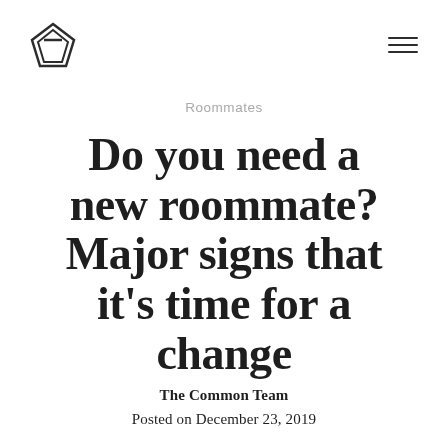[Logo] [Hamburger menu]
Roommates
Do you need a new roommate? Major signs that it's time for a change
The Common Team
Posted on December 23, 2019